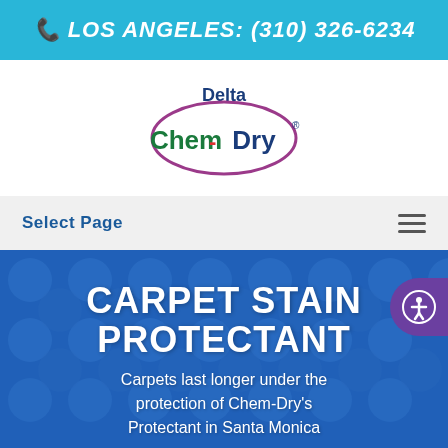LOS ANGELES: (310) 326-6234
[Figure (logo): Delta Chem-Dry logo: oval with 'Chem-Dry' text in green and blue, 'Delta' written above in dark blue]
Select Page
CARPET STAIN PROTECTANT
Carpets last longer under the protection of Chem-Dry's Protectant in Santa Monica